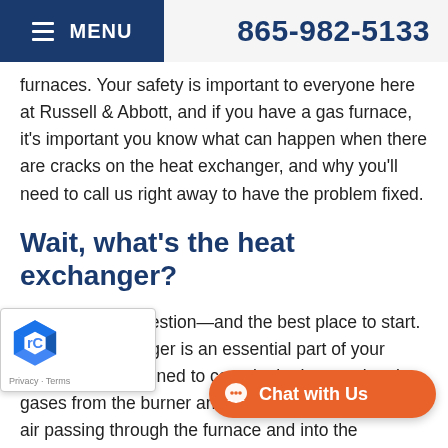MENU  865-982-5133
furnaces. Your safety is important to everyone here at Russell & Abbott, and if you have a gas furnace, it's important you know what can happen when there are cracks on the heat exchanger, and why you'll need to call us right away to have the problem fixed.
Wait, what's the heat exchanger?
That's a good question—and the best place to start. The heat exchanger is an essential part of your furnace. It's designed to contain the hot combustion gases from the burner and transfer their heat to the air passing through the furnace and into the ductwork. The metal chambers of the heat exchanger prevent the gases from mingling with the air that enters the house and which you breathe.